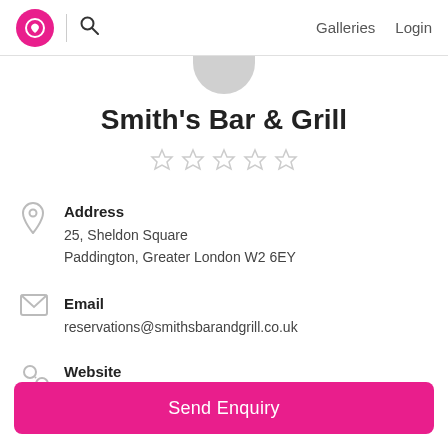Smith's Bar & Grill — Galleries | Login
Smith's Bar & Grill
★★★★★ (empty stars)
Address
25, Sheldon Square
Paddington, Greater London W2 6EY
Email
reservations@smithsbarandgrill.co.uk
Website
www.smithsbarandgrill.co.uk
Send Enquiry